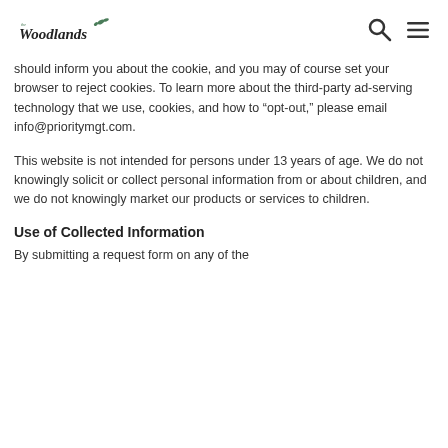The Woodlands [logo with search and menu icons]
should inform you about the cookie, and you may of course set your browser to reject cookies. To learn more about the third-party ad-serving technology that we use, cookies, and how to “opt-out,” please email info@prioritymgt.com.
This website is not intended for persons under 13 years of age. We do not knowingly solicit or collect personal information from or about children, and we do not knowingly market our products or services to children.
Use of Collected Information
By submitting a request form on any of the